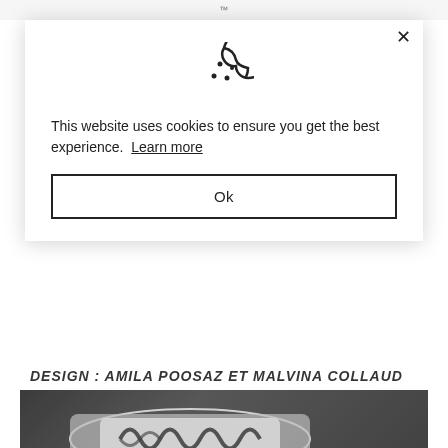™
[Figure (screenshot): Cookie consent modal overlay on a website. Modal contains a cookie icon, text reading 'This website uses cookies to ensure you get the best experience. Learn more', and an 'Ok' button. A close (×) button is in the top right corner.]
DESIGN : AMILA POOSAZ ET MALVINA COLLAUD
[Figure (photo): Close-up photo of a silver/stainless steel ring with decorative black engraved pattern on a dark background.]